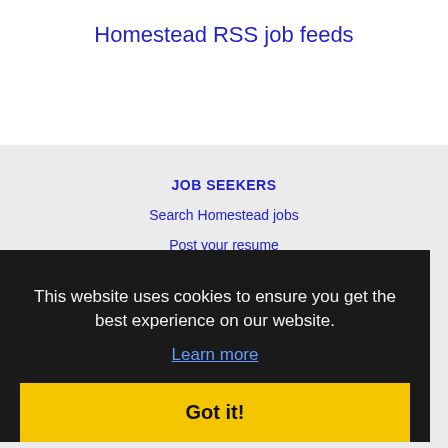Homestead RSS job feeds
JOB SEEKERS
Search Homestead jobs
Post your resume
Email job alerts
Receive RSS job
This website uses cookies to ensure you get the best experience on our website.
Learn more
Got it!
EMPLOYERS
Post jobs
Search resumes
Email resume alerts